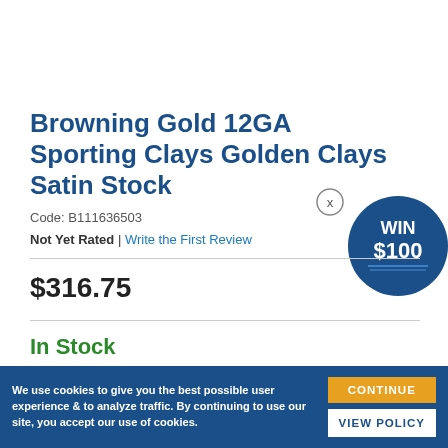Browning Gold 12GA Sporting Clays Golden Clays Satin Stock
Code: B111636503
Not Yet Rated | Write the First Review
$316.75
In Stock
[Figure (infographic): WIN $100 circular badge in dark blue with white text]
ADD TO CART
We use cookies to give you the best possible user experience & to analyze traffic. By continuing to use our site, you accept our use of cookies.
CONTINUE
VIEW POLICY